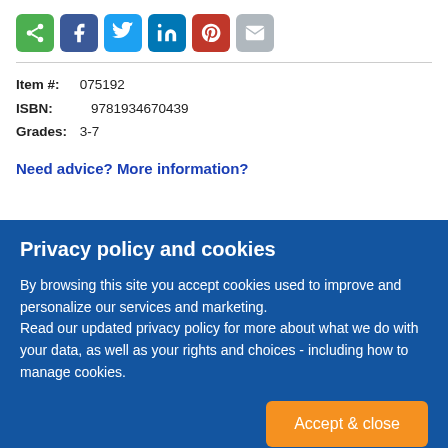[Figure (infographic): Row of social sharing icon buttons: share (green), Facebook (blue), Twitter (light blue), LinkedIn (dark blue), Pinterest (red), email (grey)]
Item #: 075192
ISBN: 9781934670439
Grades: 3-7
Need advice? More information?
Privacy policy and cookies
By browsing this site you accept cookies used to improve and personalize our services and marketing.
Read our updated privacy policy for more about what we do with your data, as well as your rights and choices - including how to manage cookies.